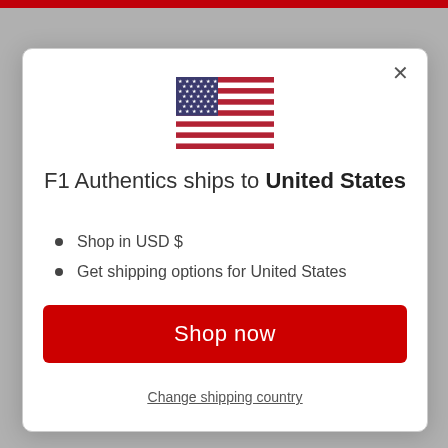[Figure (screenshot): Modal dialog on a grey website background with a red top navigation bar. The modal shows a US flag, shipping information for United States, bullet points about USD currency and shipping options, a red 'Shop now' button, and a 'Change shipping country' link.]
F1 Authentics ships to United States
Shop in USD $
Get shipping options for United States
Shop now
Change shipping country